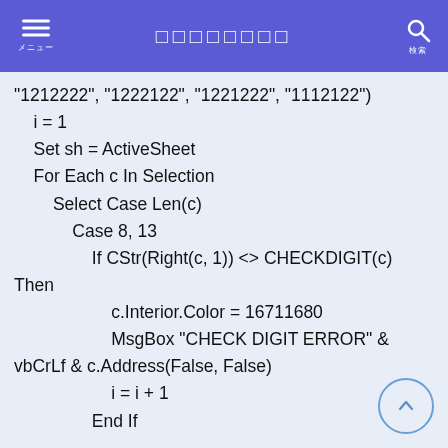□□□□□□□□
"1212222", "1222122", "1221222", "1112122")
    i = 1
    Set sh = ActiveSheet
    For Each c In Selection
        Select Case Len(c)
            Case 8, 13
                If CStr(Right(c, 1)) <> CHECKDIGIT(c) Then
                                c.Interior.Color = 16711680
                                MsgBox "CHECK DIGIT ERROR" & vbCrLf & c.Address(False, False)
                                i = i + 1
                    End If